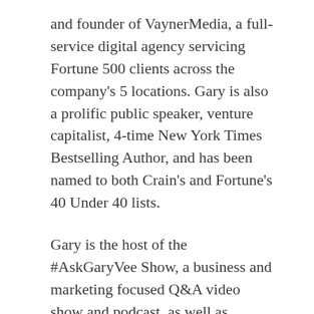and founder of VaynerMedia, a full-service digital agency servicing Fortune 500 clients across the company's 5 locations. Gary is also a prolific public speaker, venture capitalist, 4-time New York Times Bestselling Author, and has been named to both Crain's and Fortune's 40 Under 40 lists.
Gary is the host of the #AskGaryVee Show, a business and marketing focused Q&A video show and podcast, as well as DailyVee, a docu-series highlighting what it's like to be a CEO, investor, speaker, and public figure in today's digital age.
Make sure to stay tuned for Gary's latest project Planet of the Apps, Apple's very first video series, where Gary will be a judge alongside Will.I.Am, Jessica Alba, and Gwyneth Paltrow.